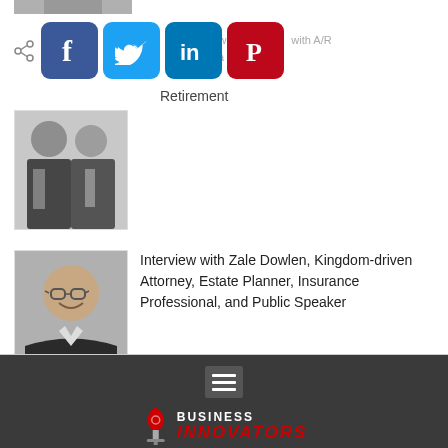[Figure (photo): Partially visible photo of person at very top of page]
[Figure (illustration): Social media share buttons: Facebook (blue), Twitter (light blue), LinkedIn (dark blue), Pinterest (red), overlaid on the page]
Retirement
[Figure (photo): Photo of two men in suits]
Interview with Zale Dowlen, Kingdom-driven Attorney, Estate Planner, Insurance Professional, and Public Speaker
[Figure (photo): Portrait photo of older man with glasses smiling, wearing dark jacket]
[Figure (logo): Business Innovators logo with microphone icon, BUSINESS text in white, INNOVATORS in red italic]
Business Innovators